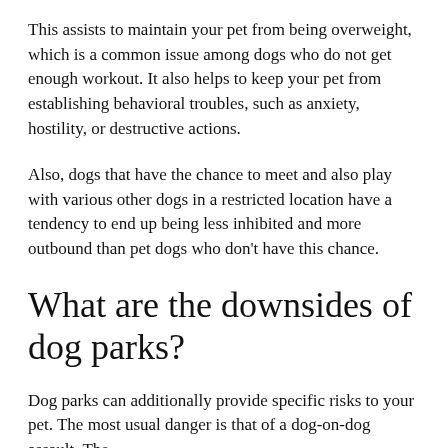This assists to maintain your pet from being overweight, which is a common issue among dogs who do not get enough workout. It also helps to keep your pet from establishing behavioral troubles, such as anxiety, hostility, or destructive actions.
Also, dogs that have the chance to meet and also play with various other dogs in a restricted location have a tendency to end up being less inhibited and more outbound than pet dogs who don't have this chance.
What are the downsides of dog parks?
Dog parks can additionally provide specific risks to your pet. The most usual danger is that of a dog-on-dog assault. The threatening specifically higher situation from a dog-on-dog...